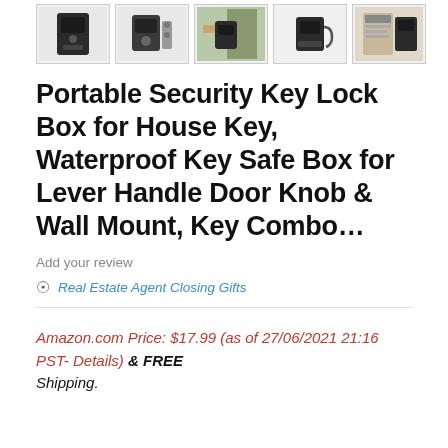[Figure (photo): Row of 5 product thumbnail images of a key lock box/safe, shown from different angles]
Portable Security Key Lock Box for House Key, Waterproof Key Safe Box for Lever Handle Door Knob & Wall Mount, Key Combo…
Add your review
Real Estate Agent Closing Gifts
Amazon.com Price: $17.99 (as of 27/06/2021 21:16 PST- Details) & FREE Shipping.